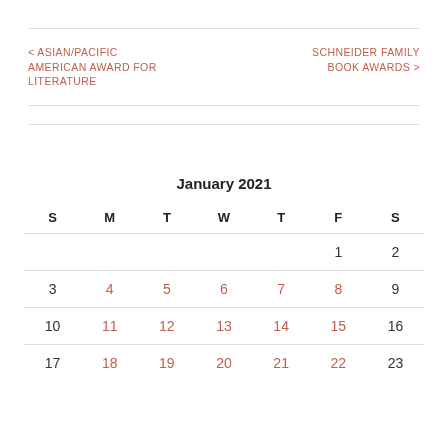< ASIAN/PACIFIC AMERICAN AWARD FOR LITERATURE
SCHNEIDER FAMILY BOOK AWARDS >
January 2021
| S | M | T | W | T | F | S |
| --- | --- | --- | --- | --- | --- | --- |
|  |  |  |  |  | 1 | 2 |
| 3 | 4 | 5 | 6 | 7 | 8 | 9 |
| 10 | 11 | 12 | 13 | 14 | 15 | 16 |
| 17 | 18 | 19 | 20 | 21 | 22 | 23 |